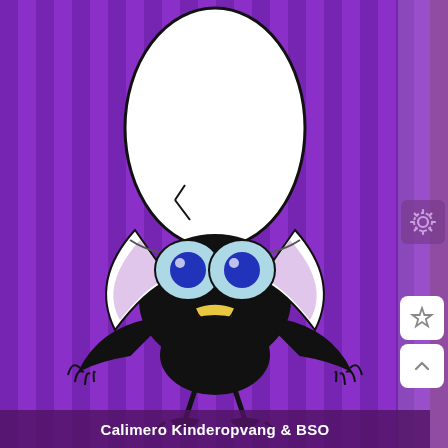[Figure (illustration): Calimero cartoon character — a small black chick with a large white eggshell on its head, big blue eyes on light blue sclera, yellow-tipped beak open with red tongue and pink lower lip, black body with small wings spread wide, standing on thin black feet. Background is purple with vertical darker purple stripes.]
Calimero Kinderopvang & BSO